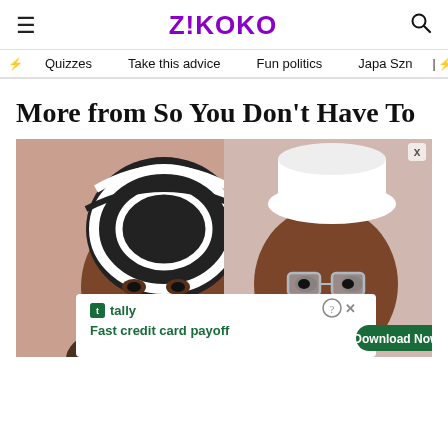Z!KOKO
Quizzes  Take this advice  Fun politics  Japa Szn
More from So You Don't Have To
[Figure (photo): Two women, one on the left wearing a black-and-white striped head wrap, one on the right wearing glasses and a white chef's hat, with an advertisement banner overlay at the bottom for Tally: 'Fast credit card payoff']
Fast credit card payoff